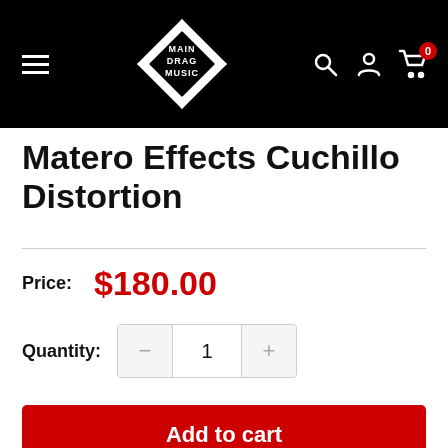Main Drag Music header with hamburger menu, logo, search icon, account icon, and cart with 0 items
Matero Effects Cuchillo Distortion
Price: $180.00
Quantity: 1
Add to cart